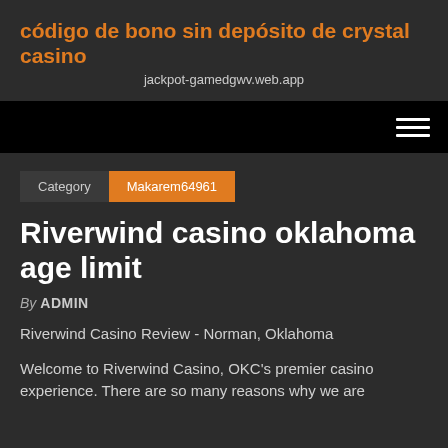código de bono sin depósito de crystal casino
jackpot-gamedgwv.web.app
Riverwind casino oklahoma age limit
By ADMIN
Riverwind Casino Review - Norman, Oklahoma
Welcome to Riverwind Casino, OKC's premier casino experience. There are so many reasons why we are